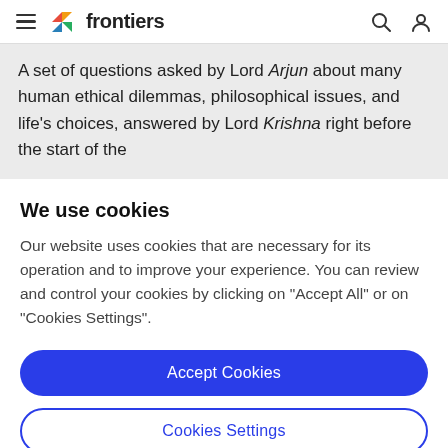frontiers
A set of questions asked by Lord Arjun about many human ethical dilemmas, philosophical issues, and life's choices, answered by Lord Krishna right before the start of the
We use cookies
Our website uses cookies that are necessary for its operation and to improve your experience. You can review and control your cookies by clicking on "Accept All" or on "Cookies Settings".
Accept Cookies
Cookies Settings